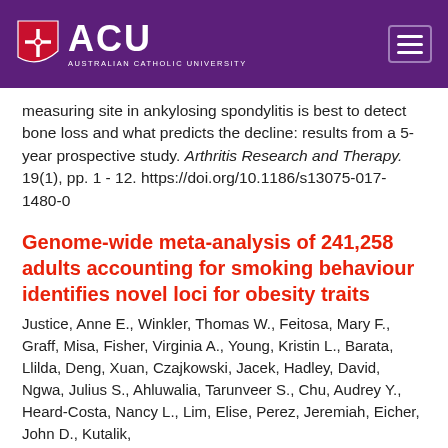[Figure (logo): Australian Catholic University (ACU) logo with shield icon on purple header background, with hamburger menu icon on the right]
measuring site in ankylosing spondylitis is best to detect bone loss and what predicts the decline: results from a 5-year prospective study. Arthritis Research and Therapy. 19(1), pp. 1 - 12. https://doi.org/10.1186/s13075-017-1480-0
Genome-wide meta-analysis of 241,258 adults accounting for smoking behaviour identifies novel loci for obesity traits
Justice, Anne E., Winkler, Thomas W., Feitosa, Mary F., Graff, Misa, Fisher, Virginia A., Young, Kristin L., Barata, Llilda, Deng, Xuan, Czajkowski, Jacek, Hadley, David, Ngwa, Julius S., Ahluwalia, Tarunveer S., Chu, Audrey Y., Heard-Costa, Nancy L., Lim, Elise, Perez, Jeremiah, Eicher, John D., Kutalik,